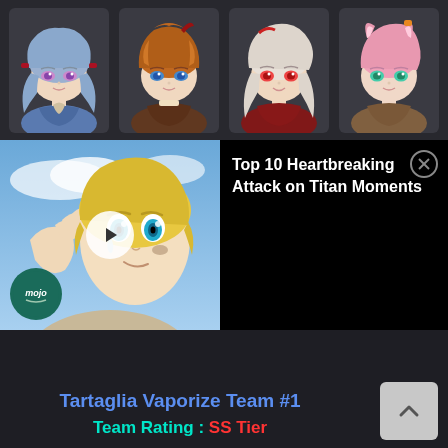[Figure (screenshot): Top row of four Genshin Impact character icons (Ganyu, Tartaglia/Childe, Kazuha, Yae Miko) on dark background]
[Figure (screenshot): Video thumbnail showing anime blonde character (Armin from Attack on Titan) with play button overlay and mojo logo, beside black panel with video title]
Top 10 Heartbreaking Attack on Titan Moments
[Figure (screenshot): Four Genshin Impact character icons for Tartaglia Vaporize Team: Tartaglia, Fischl or Kokomi variant, Hu Tao or similar, Kazuha variant]
Tartaglia Vaporize Team #1
Team Rating : SS Tier